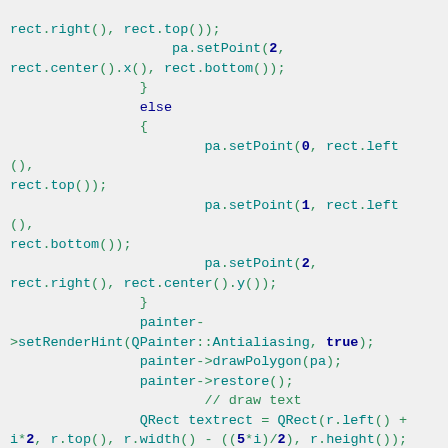Code snippet showing C++/Qt code for drawing polygon arrows with painter, including setPoint calls, setRenderHint, drawPolygon, restore, draw text with elidedText, and drawItemText.